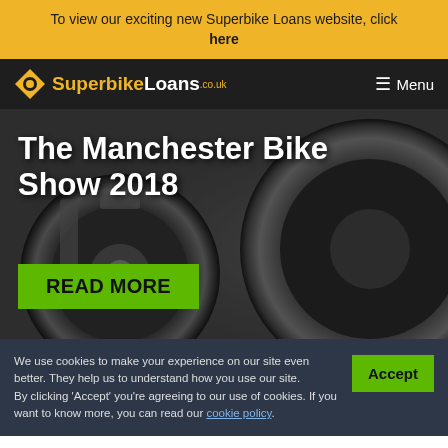To view our exciting new Superbike Loans website, click here
[Figure (logo): SuperbikeLoans.co.uk logo with orange diamond icon and Menu hamburger button on dark navigation bar]
[Figure (photo): Black and white close-up photo of motorcycle wheel and tire with The Manchester Bike Show 2018 title text and READ MORE green button overlaid]
The Manchester Bike Show 2018
We use cookies to make your experience on our site even better. They help us to understand how you use our site.
By clicking 'Accept' you're agreeing to our use of cookies. If you want to know more, you can read our cookie policy.